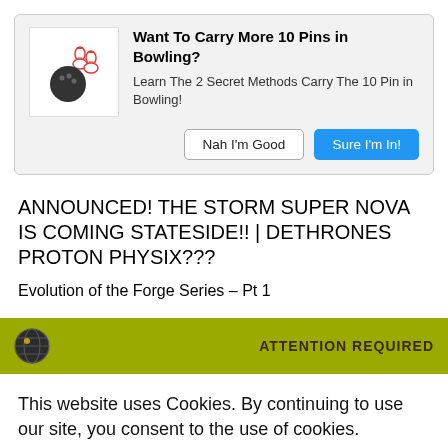[Figure (screenshot): Ad banner with bowling ball and pins icon, title 'Want To Carry More 10 Pins in Bowling?', body text, and two buttons: 'Nah I'm Good' and 'Sure I'm In!']
ANNOUNCED! THE STORM SUPER NOVA IS COMING STATESIDE!! | DETHRONES PROTON PHYSIX???
Evolution of the Forge Series – Pt 1
[Figure (screenshot): Cookie consent banner with yellow header showing globe icon and 'ATTENTION REQUIRED', white body with message and Accept / Privacy Center buttons]